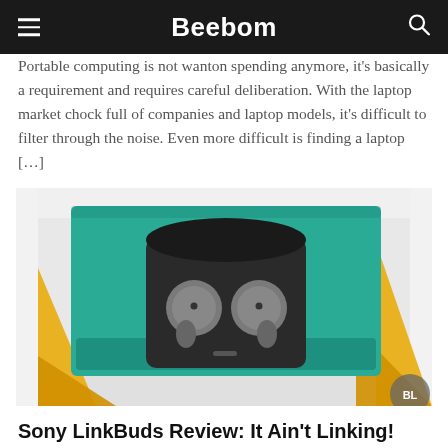Beebom
Portable computing is not wanton spending anymore, it's basically a requirement and requires careful deliberation. With the laptop market chock full of companies and laptop models, it's difficult to filter through the noise. Even more difficult is finding a laptop […]
[Figure (photo): Sony LinkBuds wireless earbuds in their open teal/green charging case, placed on yellow packaging material against a white background. A circular watermark 'BL' is partially visible in the bottom-right corner.]
Sony LinkBuds Review: It Ain't Linking!